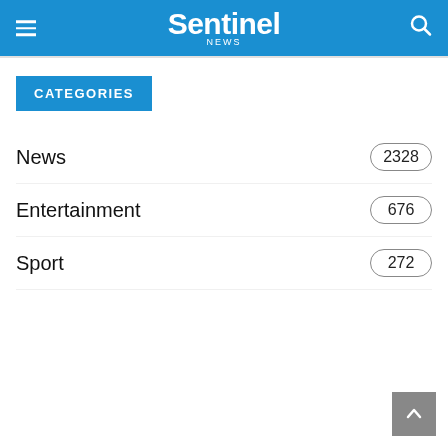Sentinel news
CATEGORIES
News 2328
Entertainment 676
Sport 272